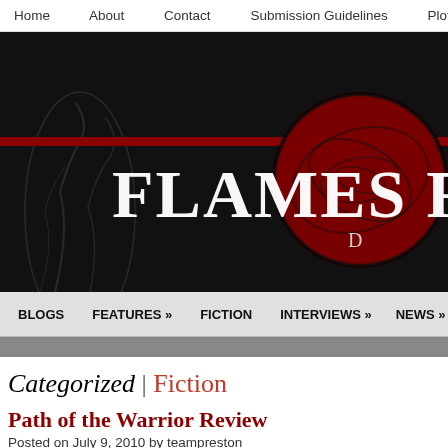Home   About   Contact   Submission Guidelines   Plot Genera...
[Figure (illustration): Flames Rising website banner: black background with smoke wisps on left, large red spiral/ball graphic on right, white bold serif text 'FLAMES RIS' (truncated) with red horizontal bar behind it, and small text 'D' below]
BLOGS   FEATURES »   FICTION   INTERVIEWS »   NEWS »   RE...
Categorized | Fiction
Path of the Warrior Review
Posted on July 9, 2010 by teampreston
Available at Amazon.com